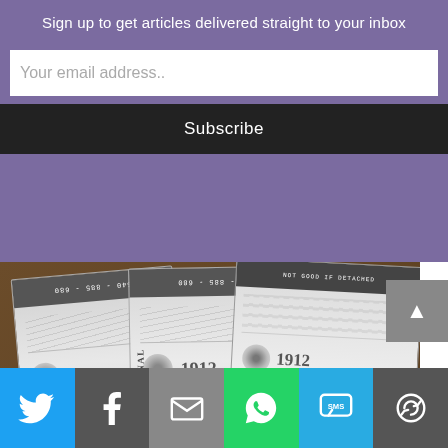Sign up to get articles delivered straight to your inbox
Your email address..
Subscribe
[Figure (photo): Old Democratic National Convention tickets from 1912, Baltimore, fanned out on a wooden surface. Grayscale/sepia colored paper tickets with vertical text reading DEMOCRATIC NATIONAL CONVENTION, BALTIMORE, JUNE 25, ornamental designs, signatures, and NOT GOOD IF DETACHED. Numbers visible including 540-885-680.]
[Figure (infographic): Social sharing bar at bottom with icons for Twitter (blue), Facebook (dark gray), Email (gray envelope), WhatsApp (green), SMS (blue), and More (dark gray with circular arrows)]